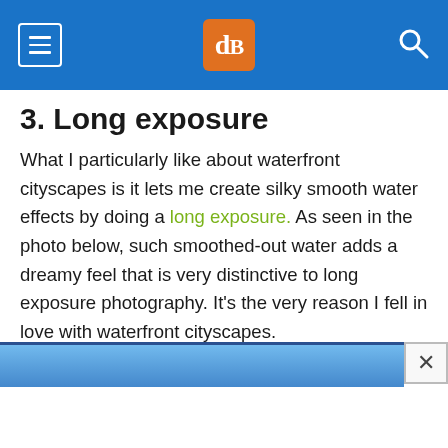dPS
3. Long exposure
What I particularly like about waterfront cityscapes is it lets me create silky smooth water effects by doing a long exposure. As seen in the photo below, such smoothed-out water adds a dreamy feel that is very distinctive to long exposure photography. It's the very reason I fell in love with waterfront cityscapes.
[Figure (other): Advertisement banner with blue gradient background and close button (×)]